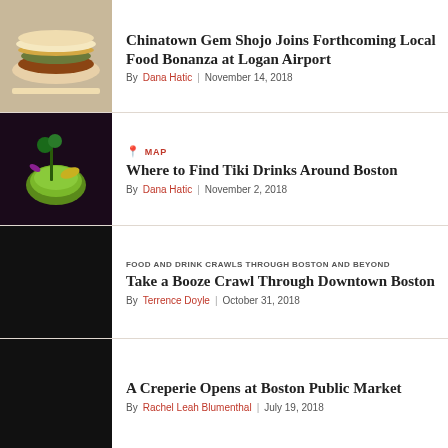[Figure (photo): Photo of a burger/bun with toppings on a white plate]
Chinatown Gem Shojo Joins Forthcoming Local Food Bonanza at Logan Airport
By Dana Hatic | November 14, 2018
[Figure (photo): Photo of a tiki cocktail drink (green sphere glass with garnishes)]
MAP
Where to Find Tiki Drinks Around Boston
By Dana Hatic | November 2, 2018
[Figure (photo): Dark/black photo thumbnail]
FOOD AND DRINK CRAWLS THROUGH BOSTON AND BEYOND
Take a Booze Crawl Through Downtown Boston
By Terrence Doyle | October 31, 2018
[Figure (photo): Dark/black photo thumbnail]
A Creperie Opens at Boston Public Market
By Rachel Leah Blumenthal | July 19, 2018